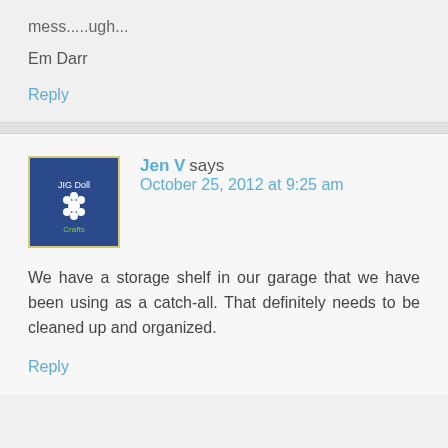mess.....ugh...
Em Darr
Reply
Jen V says October 25, 2012 at 9:25 am
We have a storage shelf in our garage that we have been using as a catch-all. That definitely needs to be cleaned up and organized.
Reply